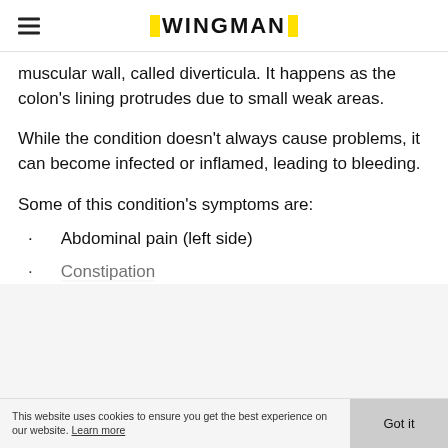WINGMAN
muscular wall, called diverticula. It happens as the colon’s lining protrudes due to small weak areas.
While the condition doesn’t always cause problems, it can become infected or inflamed, leading to bleeding.
Some of this condition’s symptoms are:
Abdominal pain (left side)
Constipation
This website uses cookies to ensure you get the best experience on our website. Learn more   Got it